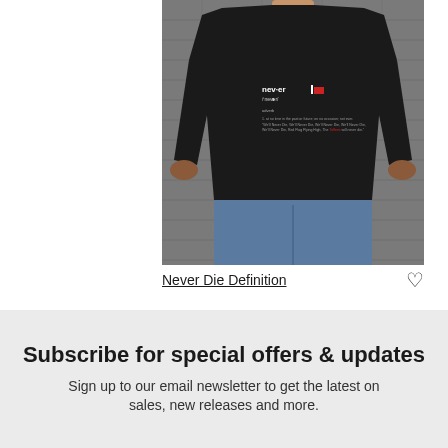[Figure (photo): A man wearing a black t-shirt with 'Never Die Definition' text and graphic print on the chest, standing against a grey brick wall, wearing blue jeans.]
Never Die Definition
Subscribe for special offers & updates
Sign up to our email newsletter to get the latest on sales, new releases and more.